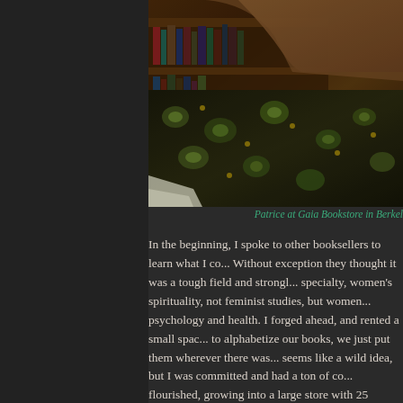[Figure (photo): Photo of Patrice at Gaia Bookstore in Berkeley, showing a person in a floral patterned garment in front of bookshelves]
Patrice at Gaia Bookstore in Berkel...
In the beginning, I spoke to other booksellers to learn what I co... Without exception they thought it was a tough field and strongly... specialty, women's spirituality, not feminist studies, but women... psychology and health. I forged ahead, and rented a small spac... to alphabetize our books, we just put them wherever there was... seems like a wild idea, but I was committed and had a ton of co... flourished, growing into a large store with 25 employees and ex... with a focus on the human spirit. We became nationally known... hosted 3,000 events during my career. When we closed under e...